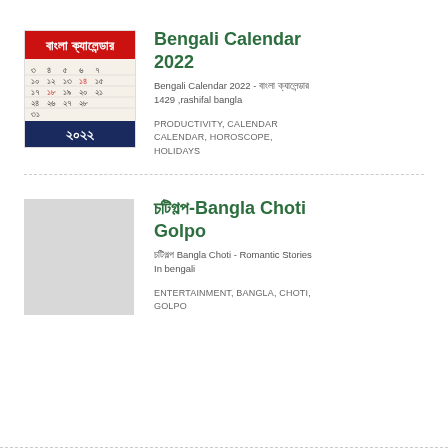[Figure (illustration): Bengali Calendar 2022 app icon showing a calendar with Bengali numerals and dates, red header with Bengali text, dark blue footer showing 2022 in Bengali numerals]
Bengali Calendar 2022
Bengali Calendar 2022 - বাংলা ক্যালেন্ডার 1429 ,rashifal bangla
PRODUCTIVITY, CALENDAR CALENDAR, HOROSCOPE, HOLIDAYS
[Figure (illustration): Blank gray placeholder image for Bangla Choti Golpo app]
চটিগল্প-Bangla Choti Golpo
চটিগল্প Bangla Choti - Romantic Stories In bengali
ENTERTAINMENT, BANGLA, CHOTI, GOLPO